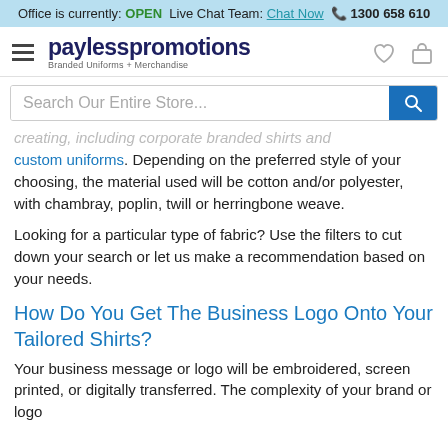Office is currently: OPEN  Live Chat Team: Chat Now  ☎ 1300 658 610
[Figure (logo): Payless Promotions logo — hamburger menu icon, 'paylesspromotions Branded Uniforms + Merchandise' text, heart icon, bag icon]
Search Our Entire Store...
creating, including corporate branded shirts and custom uniforms. Depending on the preferred style of your choosing, the material used will be cotton and/or polyester, with chambray, poplin, twill or herringbone weave.
Looking for a particular type of fabric? Use the filters to cut down your search or let us make a recommendation based on your needs.
How Do You Get The Business Logo Onto Your Tailored Shirts?
Your business message or logo will be embroidered, screen printed, or digitally transferred. The complexity of your brand or logo